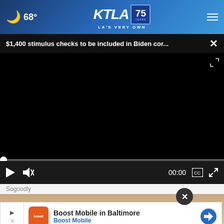68° KTLA 75 YEARS LA'S VERY OWN
$1,400 stimulus checks to be included in Biden cor... ×
[Figure (screenshot): Black video player area with playback controls: play button, mute button, time display 00:00, CC button, fullscreen button. Progress bar at bottom with white dot indicator at start.]
Sogoodly
[Figure (other): Advertisement banner: Boost Mobile in Baltimore, Boost Mobile - with orange Boost Mobile logo icon and blue diamond direction arrow icon]